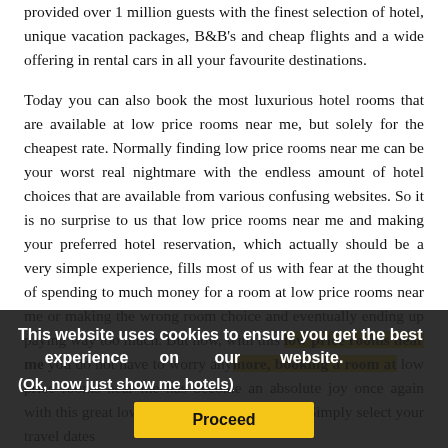provided over 1 million guests with the finest selection of hotel, unique vacation packages, B&B's and cheap flights and a wide offering in rental cars in all your favourite destinations.
Today you can also book the most luxurious hotel rooms that are available at low price rooms near me, but solely for the cheapest rate. Normally finding low price rooms near me can be your worst real nightmare with the endless amount of hotel choices that are available from various confusing websites. So it is no surprise to us that low price rooms near me and making your preferred hotel reservation, which actually should be a very simple experience, fills most of us with fear at the thought of spending to much money for a room at low price rooms near me or making the wrong room choice and eventually ending up paying way too much. But now, with this low price rooms near me you do not have to worry anymore, booking a room at low price rooms near me has become an absolute joy once again with this great low price rooms near meoffer. Simply select your travel dates
This website uses cookies to ensure you get the best experience on our website.
(Ok, now just show me hotels)
Proceed